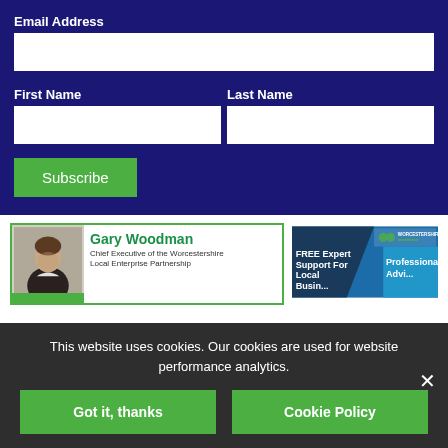Email Address
First Name
Last Name
Subscribe
[Figure (photo): Card featuring Gary Woodman, Chief Executive of the Worcestershire Local Enterprise Partnership, with a headshot photo and green border.]
[Figure (photo): Worcestershire LEP promotional card with FREE Expert Support For Local Business and Professional Advisor text on blue background with logo.]
This website uses cookies. Our cookies are used for website performance analytics.
Got it, thanks
Cookie Policy